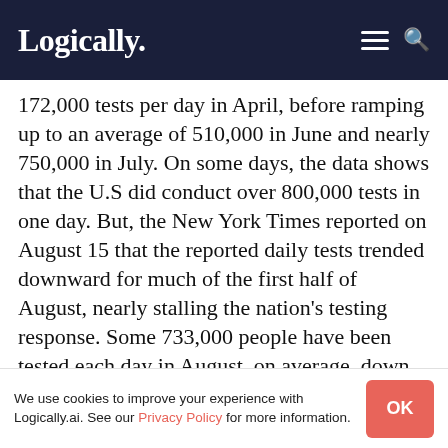Logically.
172,000 tests per day in April, before ramping up to an average of 510,000 in June and nearly 750,000 in July. On some days, the data shows that the U.S did conduct over 800,000 tests in one day. But, the New York Times reported on August 15 that the reported daily tests trended downward for much of the first half of August, nearly stalling the nation's testing response. Some 733,000 people have been tested each day in August, on average, down from nearly 750,000 in July, according to the COVID Tracking Project. NYT reported that this downturn in testing might be because of people's frustration at the prospect of long lines and delays in getting results. They
We use cookies to improve your experience with Logically.ai. See our Privacy Policy for more information. OK